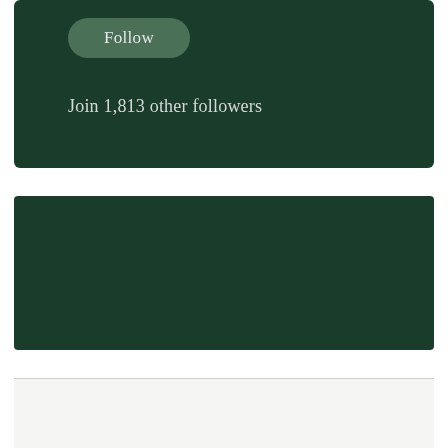Follow
Join 1,813 other followers
299,853 readers